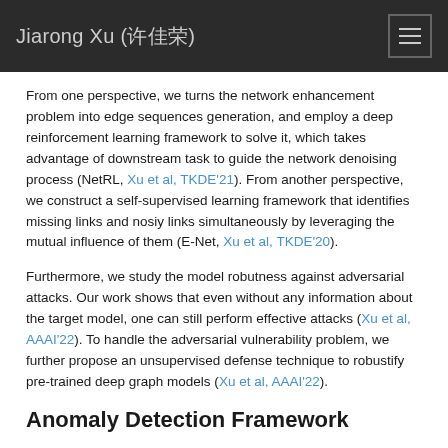Jiarong Xu (许佳荣)
From one perspective, we turns the network enhancement problem into edge sequences generation, and employ a deep reinforcement learning framework to solve it, which takes advantage of downstream task to guide the network denoising process (NetRL, Xu et al, TKDE'21). From another perspective, we construct a self-supervised learning framework that identifies missing links and nosiy links simultaneously by leveraging the mutual influence of them (E-Net, Xu et al, TKDE'20).
Furthermore, we study the model robutness against adversarial attacks. Our work shows that even without any information about the target model, one can still perform effective attacks (Xu et al, AAAI'22). To handle the adversarial vulnerability problem, we further propose an unsupervised defense technique to robustify pre-trained deep graph models (Xu et al, AAAI'22).
Anomaly Detection Framework